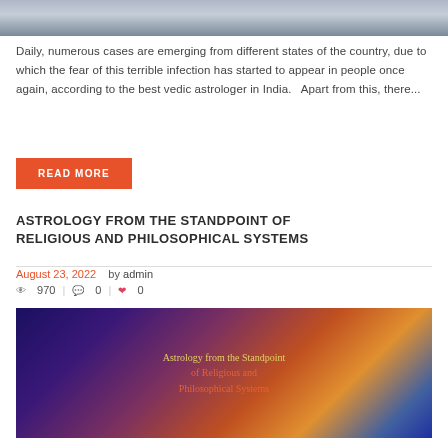[Figure (photo): Partial top of an image, showing blurred figures in an outdoor/indoor setting]
Daily, numerous cases are emerging from different states of the country, due to which the fear of this terrible infection has started to appear in people once again, according to the best vedic astrologer in India.   Apart from this, there...
READ MORE
ASTROLOGY FROM THE STANDPOINT OF RELIGIOUS AND PHILOSOPHICAL SYSTEMS
August 23, 2022   by admin
970  |  0  |  0
[Figure (illustration): Decorative banner image for article 'Astrology from the Standpoint of Religious and Philosophical Systems' with dark purple/cosmic background, glowing orb, and text overlay]